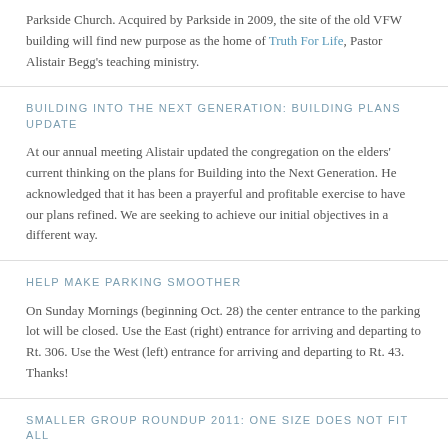Parkside Church. Acquired by Parkside in 2009, the site of the old VFW building will find new purpose as the home of Truth For Life, Pastor Alistair Begg's teaching ministry.
BUILDING INTO THE NEXT GENERATION: BUILDING PLANS UPDATE
At our annual meeting Alistair updated the congregation on the elders' current thinking on the plans for Building into the Next Generation. He acknowledged that it has been a prayerful and profitable exercise to have our plans refined. We are seeking to achieve our initial objectives in a different way.
HELP MAKE PARKING SMOOTHER
On Sunday Mornings (beginning Oct. 28) the center entrance to the parking lot will be closed. Use the East (right) entrance for arriving and departing to Rt. 306. Use the West (left) entrance for arriving and departing to Rt. 43. Thanks!
SMALLER GROUP ROUNDUP 2011: ONE SIZE DOES NOT FIT ALL
Let's face it...Parkside is a big church. With almost 3,000 people attending Sunday services, it's easy to feel a little lost in the crowd.